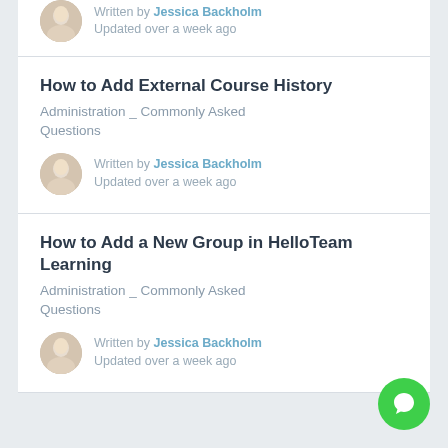Written by Jessica Backholm
Updated over a week ago
How to Add External Course History
Administration _ Commonly Asked Questions
Written by Jessica Backholm
Updated over a week ago
How to Add a New Group in HelloTeam Learning
Administration _ Commonly Asked Questions
Written by Jessica Backholm
Updated over a week ago